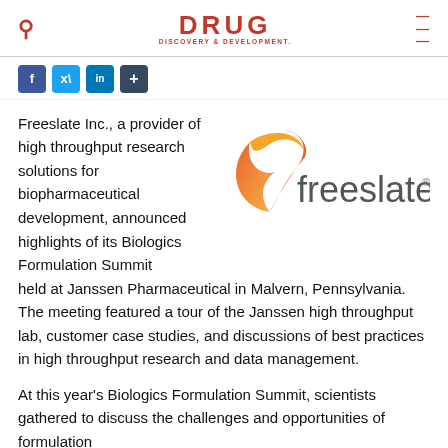DRUG DISCOVERY & DEVELOPMENT
[Figure (logo): Freeslate company logo with orange swoosh and grey 'freeslate' wordmark]
Freeslate Inc., a provider of high throughput research solutions for biopharmaceutical development, announced highlights of its Biologics Formulation Summit held at Janssen Pharmaceutical in Malvern, Pennsylvania. The meeting featured a tour of the Janssen high throughput lab, customer case studies, and discussions of best practices in high throughput research and data management.
At this year's Biologics Formulation Summit, scientists gathered to discuss the challenges and opportunities of formulation